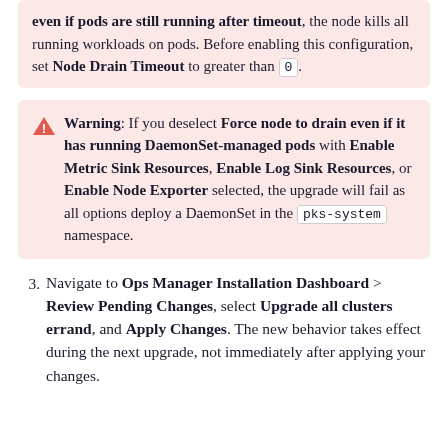even if pods are still running after timeout, the node kills all running workloads on pods. Before enabling this configuration, set Node Drain Timeout to greater than 0.
Warning: If you deselect Force node to drain even if it has running DaemonSet-managed pods with Enable Metric Sink Resources, Enable Log Sink Resources, or Enable Node Exporter selected, the upgrade will fail as all options deploy a DaemonSet in the pks-system namespace.
3. Navigate to Ops Manager Installation Dashboard > Review Pending Changes, select Upgrade all clusters errand, and Apply Changes. The new behavior takes effect during the next upgrade, not immediately after applying your changes.